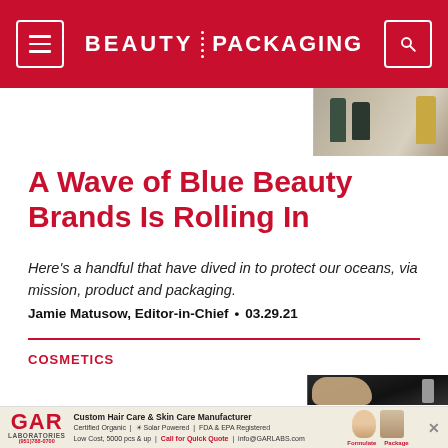BEAUTY PACKAGING
[Figure (photo): Small thumbnail image of beauty product bottles on a surface]
A Wave of Blue Beauty Brands Is Rolling In
Here's a handful that have dived in to protect our oceans, via mission, product and packaging.
Jamie Matusow, Editor-in-Chief • 03.29.21
COSMETICS
[Figure (photo): Hand using a cosmetic product on a dark surface]
GAR LABORATORIES Custom Hair Care & Skin Care Manufacturer Certified Organic | Solar Powered | FDA & EPA Registered Low Cost, 5000 pcs & up | Call for Quick Quote | info@GARLABS.com Formulate Package